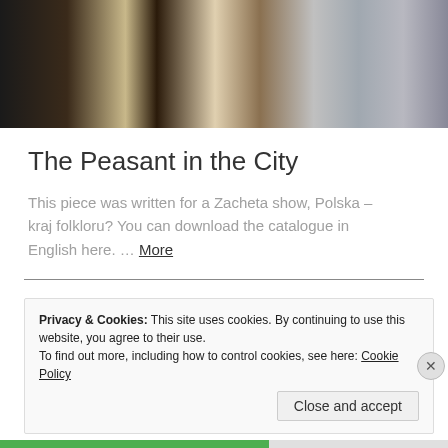[Figure (photo): Photograph of a person wearing traditional folk costume (striped skirt, white blouse) in an urban setting with buildings in background]
The Peasant in the City
This piece was written for a Zacheta show, Polska – kraj folkloru? You can download the catalogue in English here. … More
Privacy & Cookies: This site uses cookies. By continuing to use this website, you agree to their use.
To find out more, including how to control cookies, see here: Cookie Policy
Close and accept